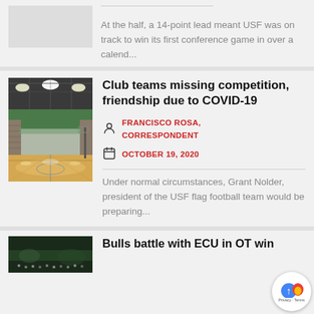At the half, a 14-point lead meant USF was on track to win its first conference game in over a calend...
[Figure (photo): Indoor gymnasium with hardwood basketball court, bright overhead lights, and bleachers along the walls]
Club teams missing competition, friendship due to COVID-19
FRANCISCO ROSA, CORRESPONDENT
OCTOBER 19, 2020
Under normal circumstances, Grant Nolder, president of the USF flag football team would be preparing...
[Figure (photo): Dark image of sports arena or stadium scene]
Bulls battle with ECU in OT win